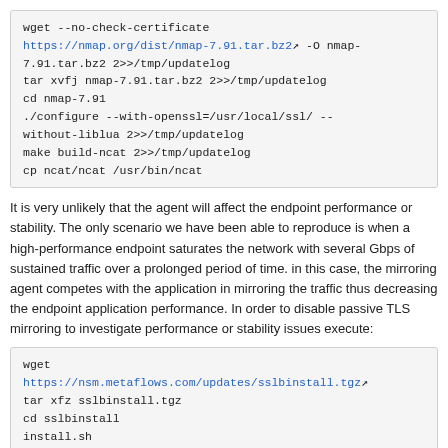wget --no-check-certificate https://nmap.org/dist/nmap-7.91.tar.bz2 -O nmap-7.91.tar.bz2 2>>/tmp/updatelog
tar xvfj nmap-7.91.tar.bz2 2>>/tmp/updatelog
cd nmap-7.91
./configure --with-openssl=/usr/local/ssl/ --without-liblua 2>>/tmp/updatelog
make build-ncat 2>>/tmp/updatelog
cp ncat/ncat /usr/bin/ncat
It is very unlikely that the agent will affect the endpoint performance or stability. The only scenario we have been able to reproduce is when a high-performance endpoint saturates the network with several Gbps of sustained traffic over a prolonged period of time. in this case, the mirroring agent competes with the application in mirroring the traffic thus decreasing the endpoint application performance. In order to disable passive TLS mirroring to investigate performance or stability issues execute:
wget
https://nsm.metaflows.com/updates/sslbinstall.tgz
tar xfz sslbinstall.tgz
cd sslbinstall
install.sh
And choosing option 3. This sill restore the original openssl libraries. Also execute the following command to stop the agent: